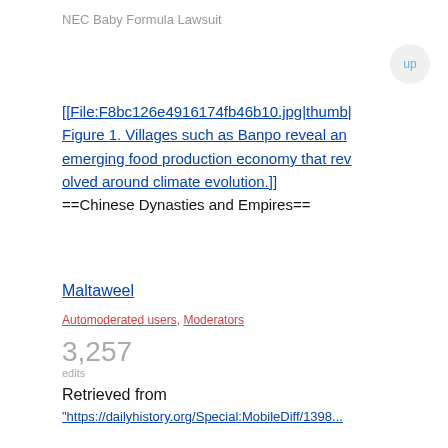NEC Baby Formula Lawsuit
[[File:F8bc126e4916174fb46b10.jpg|thumb|Figure 1. Villages such as Banpo reveal an emerging food production economy that revolved around climate evolution.]]
==Chinese Dynasties and Empires==
Maltaweel
Automoderated users, Moderators
3,257
edits
Retrieved from
"https://dailyhistory.org/Special:MobileDiff/1398...